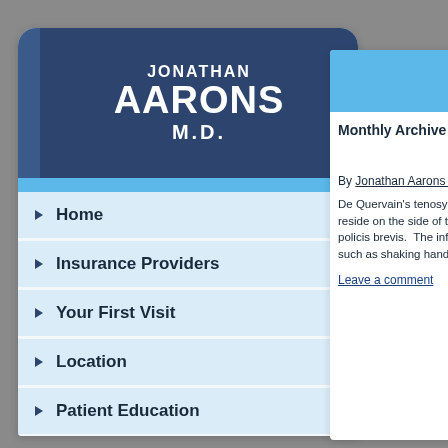JONATHAN AARONS M.D.
Home
Insurance Providers
Your First Visit
Location
Patient Education
About Me
Blog
TIR
Monthly Archive
By Jonathan Aarons MD
De Quervain's tenosyn... reside on the side of the... policis brevis.  The infla... such as shaking hands o...
Leave a comment